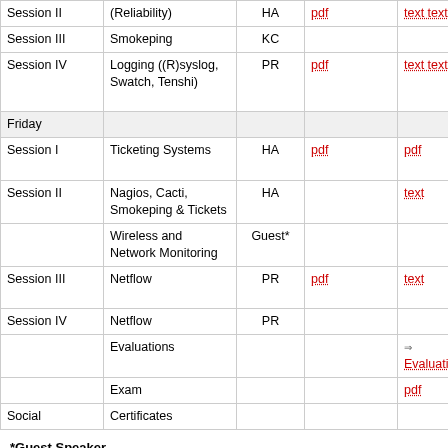|  | Topic | Instructor | Slides | Notes |  |
| --- | --- | --- | --- | --- | --- |
| Session II | (Reliability) | HA | pdf | text text | S… |
| Session III | Smokeping | KC |  |  |  |
| Session IV | Logging ((R)syslog, Swatch, Tenshi) | PR | pdf | text text | n… S… |
| Friday |  |  |  |  |  |
| Session I | Ticketing Systems | HA | pdf | pdf | T… |
| Session II | Nagios, Cacti, Smokeping & Tickets | HA |  | text |  |
|  | Wireless and Network Monitoring | Guest* |  |  |  |
| Session III | Netflow | PR | pdf | text | N… |
| Session IV | Netflow | PR |  |  |  |
|  | Evaluations |  |  | → Evaluation |  |
|  | Exam |  |  | pdf |  |
| Social | Certificates |  |  |  |  |
*Guest Speaker
Sebastian Buettrich, wireless expert extraordinaire, will visit class on Friday and give a short talk about Wireless Networks and how